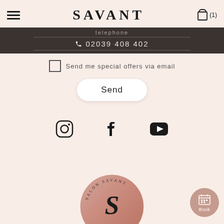SAVANT — hamburger menu, shopping bag icon with (1)
telephone
02039 408 402
Send me special offers via email
Send
[Figure (logo): Instagram icon, Facebook icon, YouTube icon — social media links]
[Figure (logo): Salon Savant circular rose-gold badge logo with stylized S]
[Figure (other): Book button — calendar icon with 'Book' text on rose-mauve circle]